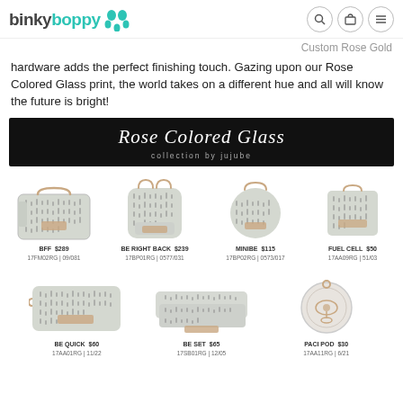binky boppy — navigation header with search, cart, menu icons
Custom Rose Gold hardware adds the perfect finishing touch. Gazing upon our Rose Colored Glass print, the world takes on a different hue and all will know the future is bright!
[Figure (illustration): Black banner reading 'Rose Colored Glass collection by jujube']
[Figure (photo): BFF bag $289, 17FM02RG | 09/081]
[Figure (photo): Be Right Back $239, 17BP01RG | 0577/031]
[Figure (photo): MiniBe $115, 17BP02RG | 0573/017]
[Figure (photo): Fuel Cell $50, 17AA09RG | 51/03]
[Figure (photo): Be Quick $60, 17AA01RG | 11/22]
[Figure (photo): Be Set $65, 17SB01RG | 12/05]
[Figure (photo): Paci Pod $30, 17AA11RG | 6/21]